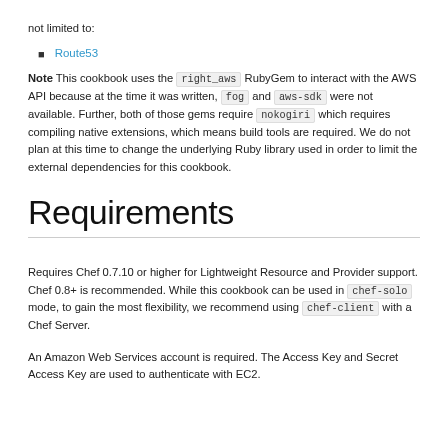not limited to:
Route53
Note This cookbook uses the right_aws RubyGem to interact with the AWS API because at the time it was written, fog and aws-sdk were not available. Further, both of those gems require nokogiri which requires compiling native extensions, which means build tools are required. We do not plan at this time to change the underlying Ruby library used in order to limit the external dependencies for this cookbook.
Requirements
Requires Chef 0.7.10 or higher for Lightweight Resource and Provider support. Chef 0.8+ is recommended. While this cookbook can be used in chef-solo mode, to gain the most flexibility, we recommend using chef-client with a Chef Server.
An Amazon Web Services account is required. The Access Key and Secret Access Key are used to authenticate with EC2.